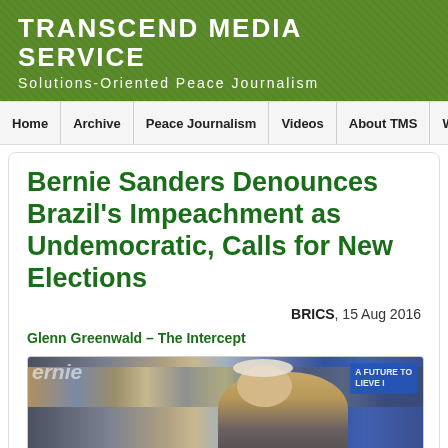TRANSCEND MEDIA SERVICE
Solutions-Oriented Peace Journalism
Home
Archive
Peace Journalism
Videos
About TMS
Write to Antonio (e
Bernie Sanders Denounces Brazil’s Impeachment as Undemocratic, Calls for New Elections
BRICS, 15 Aug 2016
Glenn Greenwald – The Intercept
[Figure (photo): Photo of Bernie Sanders speaking at a campaign rally with supporters holding blue Bernie campaign signs in the background]